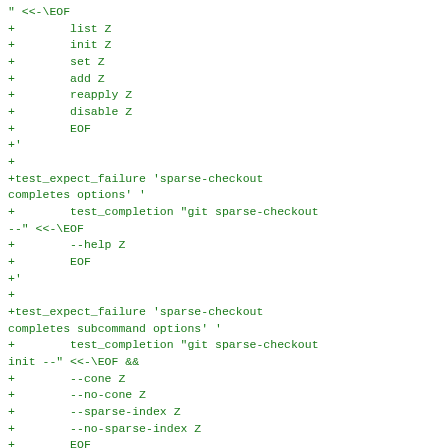" <<-\EOF
+        list Z
+        init Z
+        set Z
+        add Z
+        reapply Z
+        disable Z
+        EOF
+'
+
+test_expect_failure 'sparse-checkout completes options' '
+        test_completion "git sparse-checkout --" <<-\EOF
+        --help Z
+        EOF
+'
+
+test_expect_failure 'sparse-checkout completes subcommand options' '
+        test_completion "git sparse-checkout init --" <<-\EOF &&
+        --cone Z
+        --no-cone Z
+        --sparse-index Z
+        --no-sparse-index Z
+        EOF
+
+        test_completion "git sparse-checkout set --" <<-\EOF &&